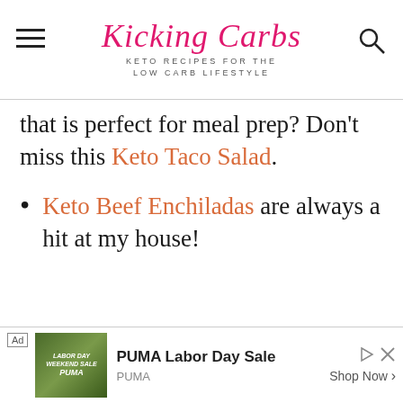Kicking Carbs — KETO RECIPES FOR THE LOW CARB LIFESTYLE
that is perfect for meal prep? Don't miss this Keto Taco Salad.
Keto Beef Enchiladas are always a hit at my house!
[Figure (screenshot): Ad banner: PUMA Labor Day Sale advertisement with jungle background image, PUMA brand label, and Shop Now button]